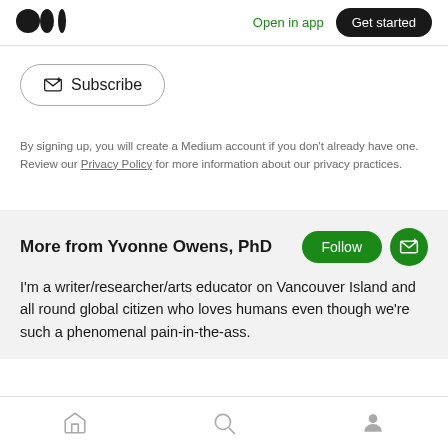Medium logo | Open in app | Get started
Subscribe
By signing up, you will create a Medium account if you don't already have one. Review our Privacy Policy for more information about our privacy practices.
More from Yvonne Owens, PhD
I'm a writer/researcher/arts educator on Vancouver Island and all round global citizen who loves humans even though we're such a phenomenal pain-in-the-ass.
Home | Search | Profile